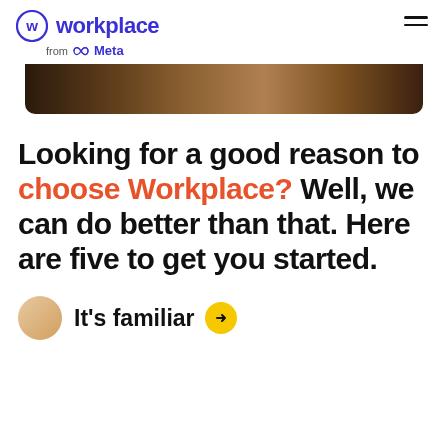workplace from Meta
[Figure (photo): Partial photo strip showing people or food, cropped at top, warm brown tones]
Looking for a good reason to choose Workplace? Well, we can do better than that. Here are five to get you started.
It's familiar →